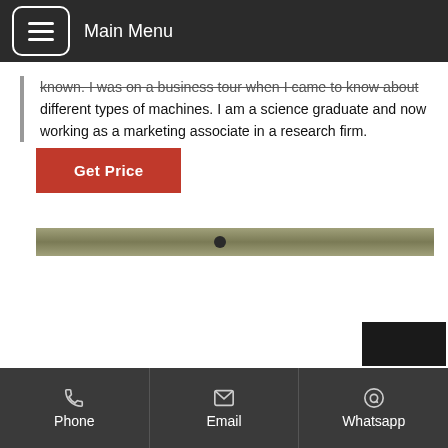Main Menu
different types of machines. I am a science graduate and now working as a marketing associate in a research firm.
Get Price
[Figure (photo): A narrow horizontal product image showing what appears to be a long thin metal rod or drill bit against a light background.]
Phone   Email   Whatsapp